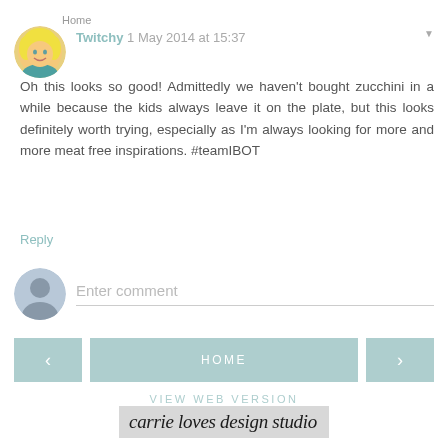Home
Twitchy 1 May 2014 at 15:37
Oh this looks so good! Admittedly we haven't bought zucchini in a while because the kids always leave it on the plate, but this looks definitely worth trying, especially as I'm always looking for more and more meat free inspirations. #teamIBOT
Reply
Enter comment
HOME
VIEW WEB VERSION
carrie loves design studio